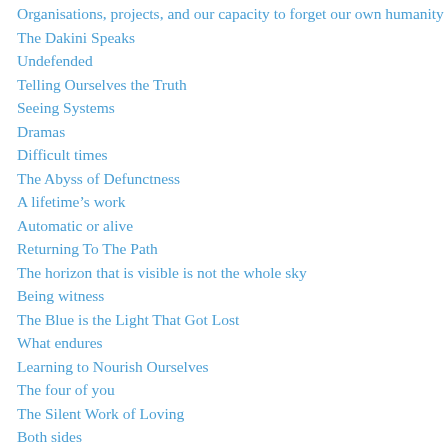Organisations, projects, and our capacity to forget our own humanity
The Dakini Speaks
Undefended
Telling Ourselves the Truth
Seeing Systems
Dramas
Difficult times
The Abyss of Defunctness
A lifetime’s work
Automatic or alive
Returning To The Path
The horizon that is visible is not the whole sky
Being witness
The Blue is the Light That Got Lost
What endures
Learning to Nourish Ourselves
The four of you
The Silent Work of Loving
Both sides
I Place My Trust Only in You